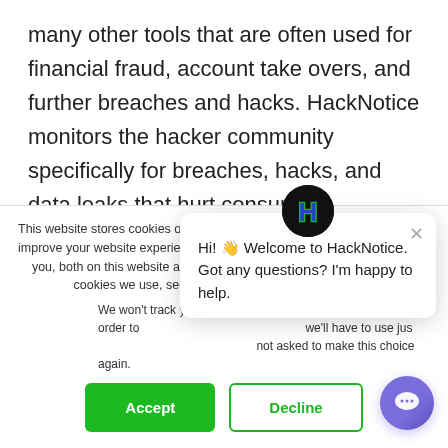many other tools that are often used for financial fraud, account take overs, and further breaches and hacks. HackNotice monitors the hacker community specifically for breaches, hacks, and data leaks that hurt consumers. HackNotice applies industry specific knowledge and advanced certificate practices to monitor for trends that indicate breaches, hacks, and exposed digital identities.
This website stores cookies on your computer. These cookies are used to improve your website experience and provide more personalized services to you, both on this website and through other media. To find out more about the cookies we use, see our Privacy Policy.
We won't track your information when you visit our site. But in order to comply with your preferences, we'll have to use just one tiny cookie so that you're not asked to make this choice again.
Hi! 👋 Welcome to HackNotice. Got any questions? I'm happy to help.